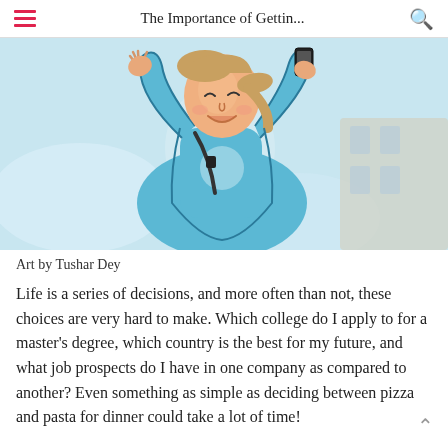The Importance of Gettin...
[Figure (illustration): Cartoon illustration of a person in a light blue outfit with arms raised, holding something, with a cheerful expression and ponytail hairstyle, against a light blue background.]
Art by Tushar Dey
Life is a series of decisions, and more often than not, these choices are very hard to make. Which college do I apply to for a master’s degree, which country is the best for my future, and what job prospects do I have in one company as compared to another? Even something as simple as deciding between pizza and pasta for dinner could take a lot of time!